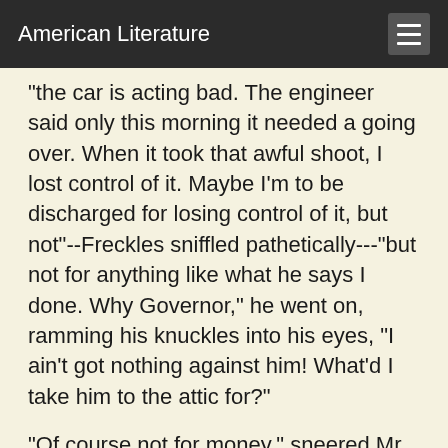American Literature
"the car is acting bad. The engineer said only this morning it needed a going over. When it took that awful shoot, I lost control of it. Maybe I'm to be discharged for losing control of it, but not"--Freckles sniffled pathetically---"but not for anything like what he says I done. Why Governor," he went on, ramming his knuckles into his eyes, "I ain't got nothing against him! What'd I take him to the attic for?"
"Of course not for money," sneered Mr. Ludlow.
The Governor turned on him sharply. "When you can bring any proof of that, I'll be ready to hear it. Until you can, you'd better leave it out of the